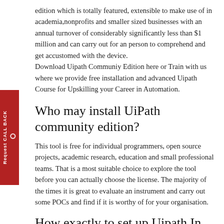edition which is totally featured, extensible to make use of in academia,nonprofits and smaller sized businesses with an annual turnover of considerably significantly less than $1 million and can carry out for an person to comprehend and get accustomed with the device.
Download Uipath Communiy Edition here or Train with us where we provide free installation and advanced Uipath Course for Upskilling your Career in Automation.
Who may install UiPath community edition?
This tool is free for individual programmers, open source projects, academic research, education and small professional teams. That is a most suitable choice to explore the tool before you can actually choose the license. The majority of the times it is great to evaluate an instrument and carry out some POCs and find if it is worthy of for your organisation.
How exactly to set up Uipath In Windows
Offer your points and register to obtain a link free of charge